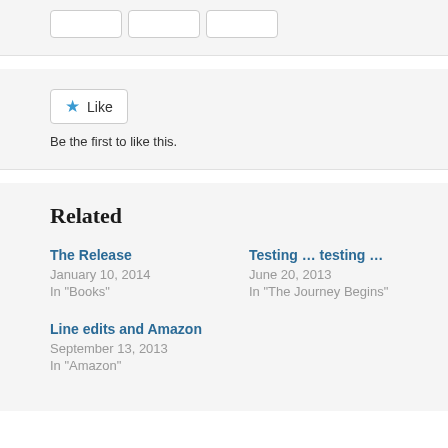[Figure (screenshot): Three placeholder buttons in a light gray bar at the top of the page]
[Figure (screenshot): Like button with blue star icon and text 'Like', followed by 'Be the first to like this.' text below]
Be the first to like this.
Related
The Release
January 10, 2014
In "Books"
Testing … testing …
June 20, 2013
In "The Journey Begins"
Line edits and Amazon
September 13, 2013
In "Amazon"